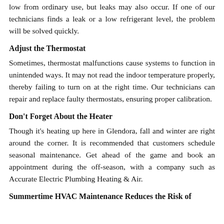low from ordinary use, but leaks may also occur. If one of our technicians finds a leak or a low refrigerant level, the problem will be solved quickly.
Adjust the Thermostat
Sometimes, thermostat malfunctions cause systems to function in unintended ways. It may not read the indoor temperature properly, thereby failing to turn on at the right time. Our technicians can repair and replace faulty thermostats, ensuring proper calibration.
Don't Forget About the Heater
Though it's heating up here in Glendora, fall and winter are right around the corner. It is recommended that customers schedule seasonal maintenance. Get ahead of the game and book an appointment during the off-season, with a company such as Accurate Electric Plumbing Heating & Air.
Summertime HVAC Maintenance Reduces the Risk of